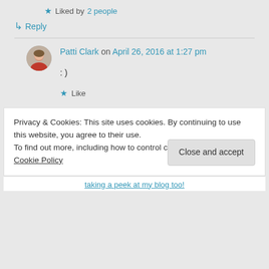★ Liked by 2 people
↳ Reply
Patti Clark on April 26, 2016 at 1:27 pm
: )
★ Like
Privacy & Cookies: This site uses cookies. By continuing to use this website, you agree to their use.
To find out more, including how to control cookies, see here: Cookie Policy
Close and accept
taking a peek at my blog too!